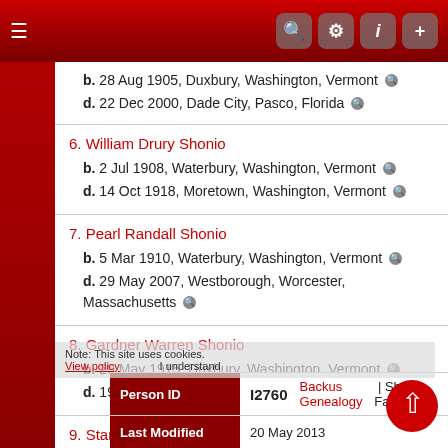b. 28 Aug 1905, Duxbury, Washington, Vermont
d. 22 Dec 2000, Dade City, Pasco, Florida
6. William Drury Shonio
b. 2 Jul 1908, Waterbury, Washington, Vermont
d. 14 Oct 1918, Moretown, Washington, Vermont
7. Pearl Randall Shonio
b. 5 Mar 1910, Waterbury, Washington, Vermont
d. 29 May 2007, Westborough, Worcester, Massachusetts
8. Gardner Warren Shonio
b. 29 May 1915, Duxbury, Washington, Vermont
d. 19 Sep 1993, Enfield, Hartford, Connecticut
9. Stanley Edwin Shonio
b. 30 Jan 1920, Moretown, Washington, Vermont
d. 16 Sep 2012, Barre, Washington, Vermont
| Field | Value |
| --- | --- |
| Person ID | I2760 | Backus Genealogy | Shonio Family |
| Last Modified | 20 May 2013 |